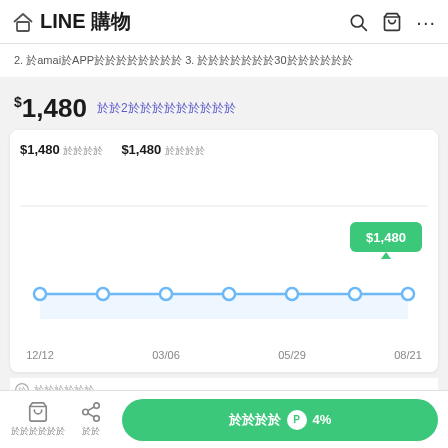LINE 購物
2. 於amai於APP於於於於於於於於 3. 於於於於於於於30於於於於於於
$1,480 於於2於於於於於於於於於
[Figure (line-chart): Price history]
於於於於於於 於 於於於於於於 於於 於於於於 P 4%